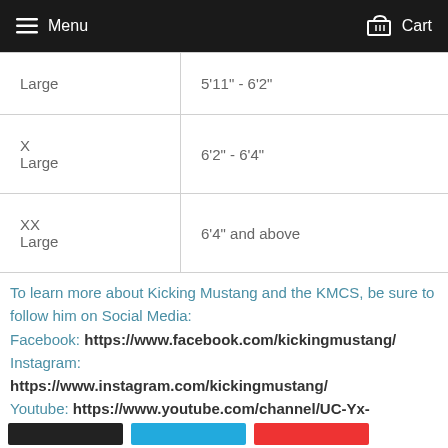Menu   Cart
| Large | 5'11" - 6'2" |
| X Large | 6'2" - 6'4" |
| XX Large | 6'4" and above |
To learn more about Kicking Mustang and the KMCS, be sure to follow him on Social Media: Facebook: https://www.facebook.com/kickingmustang/ Instagram: https://www.instagram.com/kickingmustang/ Youtube: https://www.youtube.com/channel/UC-Yx-ILW4VPDJa7Or-UoMLQ